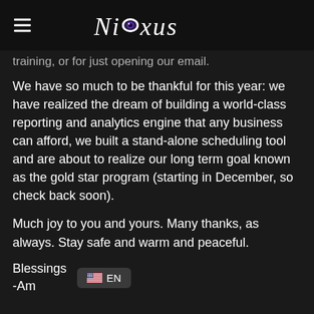Nioxus
training, or for just opening our email.
We have so much to be thankful for this year: we have realized the dream of building a world-class reporting and analytics engine that any business can afford, we built a stand-alone scheduling tool and are about to realize our long term goal known as the gold star program (starting in December, so check back soon).
Much joy to you and yours. Many thanks, as always. Stay safe and warm and peaceful.
Blessings
-Am